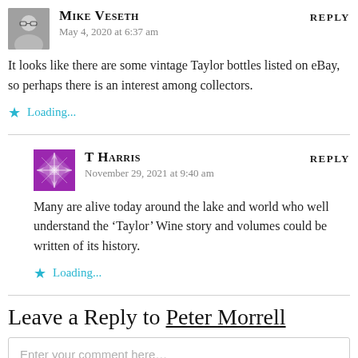Mike Veseth says: May 4, 2020 at 6:37 am
It looks like there are some vintage Taylor bottles listed on eBay, so perhaps there is an interest among collectors.
Loading...
T Harris says: November 29, 2021 at 9:40 am
Many are alive today around the lake and world who well understand the ‘Taylor’ Wine story and volumes could be written of its history.
Loading...
Leave a Reply to Peter Morrell
Enter your comment here